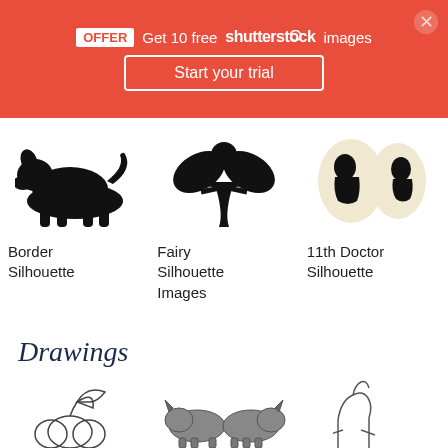[Figure (screenshot): Shutterstock promotional banner: OFFER Get 10 free shutterstock images, Start your trial button, close X button]
[Figure (illustration): Black silhouette of a Border Collie dog standing]
Border Silhouette
[Figure (illustration): Black silhouette of a fairy with wings]
Fairy Silhouette Images
[Figure (illustration): Two oval cameo silhouettes of a man and woman in profile (11th Doctor style)]
11th Doctor Silhouette
Drawings
[Figure (illustration): Line drawing of a pumpkin with leaves]
[Figure (illustration): Detailed drawing of two rhinoceroses facing each other]
[Figure (illustration): Partial line drawing of an animal (right side cut off)]